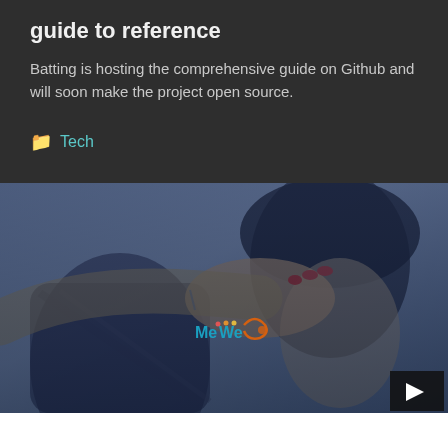guide to reference
Batting is hosting the comprehensive guide on Github and will soon make the project open source.
Tech
[Figure (photo): A woman in a dark knit beanie covering her eyes with one hand, wearing a plaid jacket, with a blue-tinted overlay. MeWe logo watermark visible in center.]